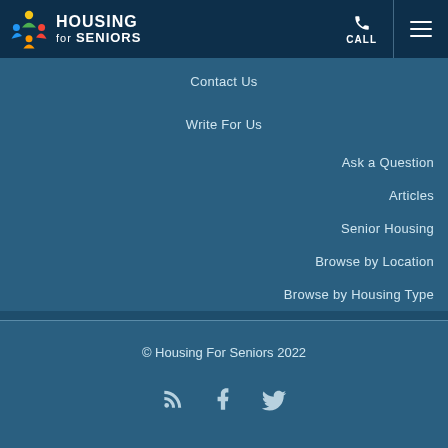Housing for Seniors
Contact Us
Write For Us
Ask a Question
Articles
Senior Housing
Browse by Location
Browse by Housing Type
© Housing For Seniors 2022